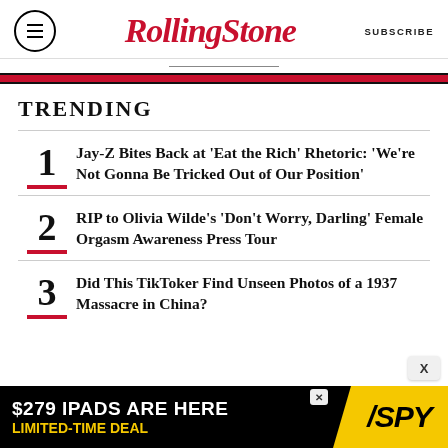Rolling Stone | SUBSCRIBE
TRENDING
1. Jay-Z Bites Back at 'Eat the Rich' Rhetoric: 'We're Not Gonna Be Tricked Out of Our Position'
2. RIP to Olivia Wilde's 'Don't Worry, Darling' Female Orgasm Awareness Press Tour
3. Did This TikToker Find Unseen Photos of a 1937 Massacre in China?
[Figure (screenshot): Advertisement banner: $279 IPADS ARE HERE LIMITED-TIME DEAL with SPY logo on yellow background]